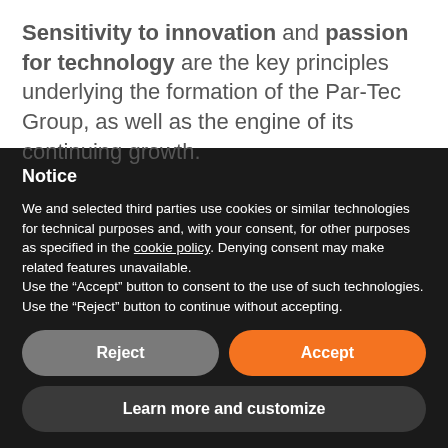Sensitivity to innovation and passion for technology are the key principles underlying the formation of the Par-Tec Group, as well as the engine of its continuing growth.
Notice
We and selected third parties use cookies or similar technologies for technical purposes and, with your consent, for other purposes as specified in the cookie policy. Denying consent may make related features unavailable.
Use the “Accept” button to consent to the use of such technologies. Use the “Reject” button to continue without accepting.
Reject
Accept
Learn more and customize